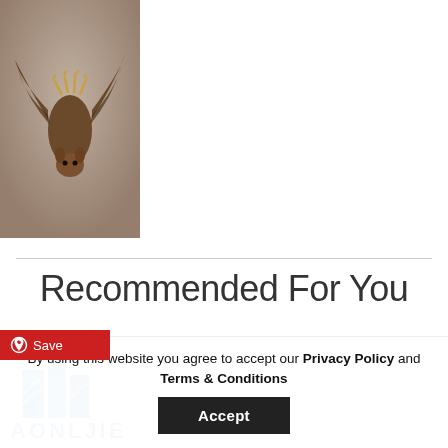[Figure (photo): A bat hanging upside down, with brown/reddish fur and visible claws/wings, photographed close-up against a blurred background]
Recommended For You
[Figure (logo): AONLJIE brand logo with blue mountain/building graphic and red Save button overlay with Pinterest icon]
By using this website you agree to accept our Privacy Policy and Terms & Conditions
Accept